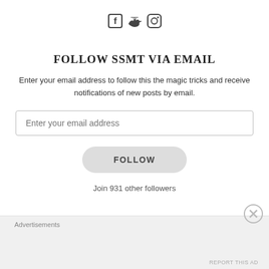[Figure (illustration): Social media icons: Facebook, Twitter, Instagram]
FOLLOW SSMT VIA EMAIL
Enter your email address to follow this the magic tricks and receive notifications of new posts by email.
Enter your email address
FOLLOW
Join 931 other followers
Advertisements
REPORT THIS AD